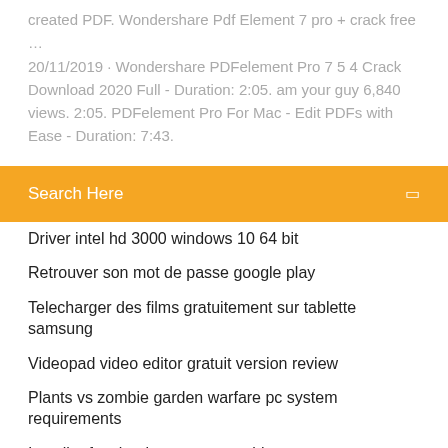created PDF. Wondershare Pdf Element 7 pro + crack free … 20/11/2019 · Wondershare PDFelement Pro 7 5 4 Crack Download 2020 Full - Duration: 2:05. am your guy 6,840 views. 2:05. PDFelement Pro For Mac - Edit PDFs with Ease - Duration: 7:43.
Search Here
Driver intel hd 3000 windows 10 64 bit
Retrouver son mot de passe google play
Telecharger des films gratuitement sur tablette samsung
Videopad video editor gratuit version review
Plants vs zombie garden warfare pc system requirements
Installer facebook pour pc portable
Gagner argent gta 5 solo ps4
Magix music maker software for pc
Convert dwg to pdf gratuit télécharger
Telecharger cs go steam gratuit